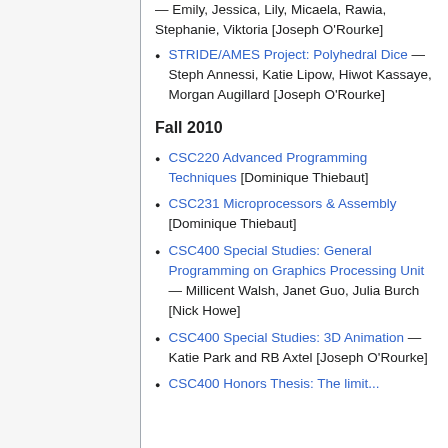— Emily, Jessica, Lily, Micaela, Rawia, Stephanie, Viktoria [Joseph O'Rourke]
STRIDE/AMES Project: Polyhedral Dice — Steph Annessi, Katie Lipow, Hiwot Kassaye, Morgan Augillard [Joseph O'Rourke]
Fall 2010
CSC220 Advanced Programming Techniques [Dominique Thiebaut]
CSC231 Microprocessors & Assembly [Dominique Thiebaut]
CSC400 Special Studies: General Programming on Graphics Processing Unit — Millicent Walsh, Janet Guo, Julia Burch [Nick Howe]
CSC400 Special Studies: 3D Animation — Katie Park and RB Axtel [Joseph O'Rourke]
CSC400 Honors Thesis: The limit...